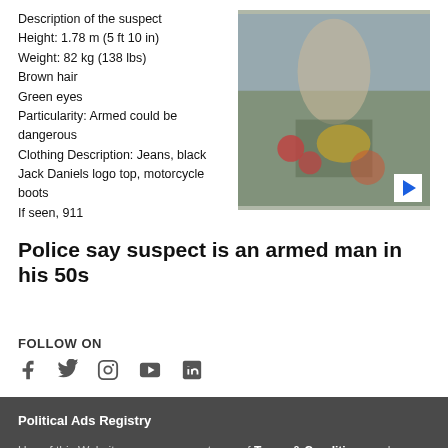Description of the suspect
Height: 1.78 m (5 ft 10 in)
Weight: 82 kg (138 lbs)
Brown hair
Green eyes
Particularity: Armed could be dangerous
Clothing Description: Jeans, black Jack Daniels logo top, motorcycle boots
If seen, 911
[Figure (photo): Photo of a person sitting outdoors with food and drinks on a table]
Police say suspect is an armed man in his 50s
FOLLOW ON
[Figure (other): Social media icons: Facebook, Twitter, Instagram, YouTube, LinkedIn]
Political Ads Registry
Use of this Website assumes acceptance of Terms & Conditions and Privacy Policy | Accessibility
© 2021 Bell Media All rights reserved.